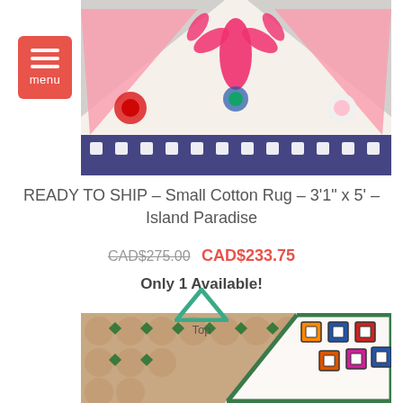[Figure (photo): Close-up of colorful Moroccan cotton rug with pink, gray, and navy patterns on white background]
READY TO SHIP – Small Cotton Rug – 3'1" x 5' – Island Paradise
CAD$275.00  CAD$233.75
Only 1 Available!
[Figure (photo): Colorful Moroccan rug displayed on terracotta tile floor with green diamond tile pattern, showing granny square motifs; a teal up-arrow with 'Top' label overlaid]